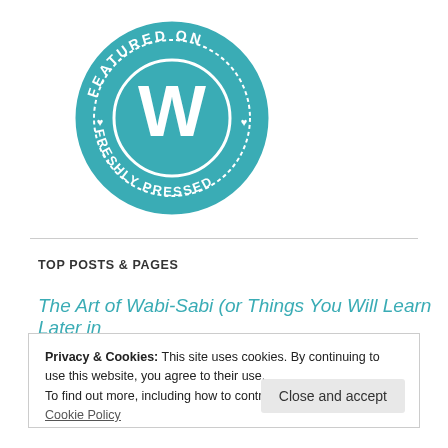[Figure (logo): WordPress 'Featured on Freshly Pressed' circular badge in blue and white. Outer ring reads 'FEATURED ON FRESHLY PRESSED' with small heart icons. Center has a large white 'W' on a blue circle.]
TOP POSTS & PAGES
The Art of Wabi-Sabi (or Things You Will Learn Later in
Privacy & Cookies: This site uses cookies. By continuing to use this website, you agree to their use.
To find out more, including how to control cookies, see here: Cookie Policy
Close and accept